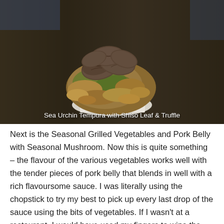[Figure (photo): Photo of a Sea Urchin Tempura dish with Shiso Leaf and Truffle. The dish shows a tempura-battered item with green shiso leaf visible, topped with sliced dark truffles. Plated on a white surface against a dark wooden background.]
Sea Urchin Tempura with Shiso Leaf & Truffle
Next is the Seasonal Grilled Vegetables and Pork Belly with Seasonal Mushroom. Now this is quite something – the flavour of the various vegetables works well with the tender pieces of pork belly that blends in well with a rich flavoursome sauce. I was literally using the chopstick to try my best to pick up every last drop of the sauce using the bits of vegetables. If I wasn't at a restaurant, I would have used my fingers to wipe the sauce from the block – finger-licking good! It paired well with the Masumi